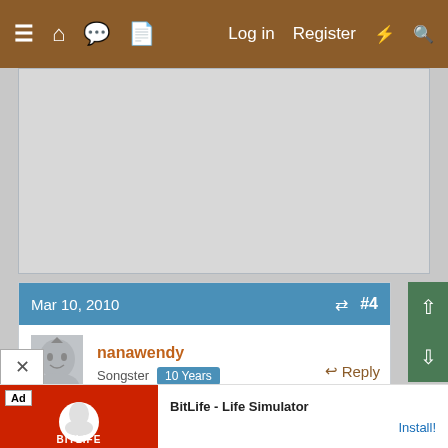≡ 🏠 💬 📄   Log in  Register  ⚡ 🔍
[Figure (screenshot): Gray advertisement banner placeholder]
Mar 10, 2010   #4
nanawendy  Songster  10 Years
Good for you, a house with chirps is a house with love  Yeah ' about the pics... I have to wait for DS to get home from school... I still don't get it.
↩ Reply
[Figure (screenshot): BitLife - Life Simulator advertisement banner at bottom]